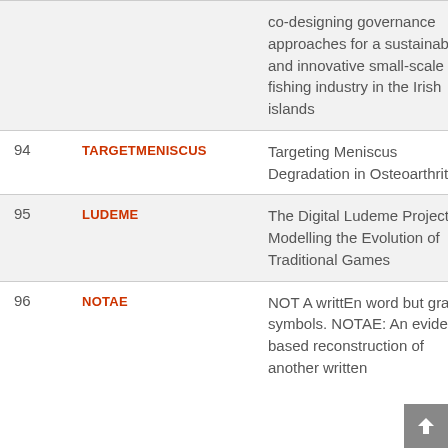| # | Code | Title |  |
| --- | --- | --- | --- |
|  |  | co-designing governance approaches for a sustainable and innovative small-scale fishing industry in the Irish islands |  |
| 94 | TARGETMENISCUS | Targeting Meniscus Degradation in Osteoarthritis |  |
| 95 | LUDEME | The Digital Ludeme Project: Modelling the Evolution of Traditional Games |  |
| 96 | NOTAE | NOT A writtEn word but graphic symbols. NOTAE: An evidence-based reconstruction of another written |  |